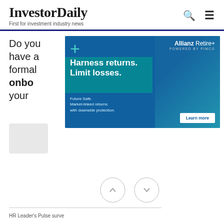InvestorDaily - First for investment industry news
Do you have a formal onboarding process for your ...
[Figure (other): Allianz Retire+ advertisement powered by PIMCO. Blue background with an older man smiling. Headline: Harness returns. Limit losses. Subtext: Future Safe. Market-linked returns with downside protection. Learn more button.]
HR Leader's Pulse surve